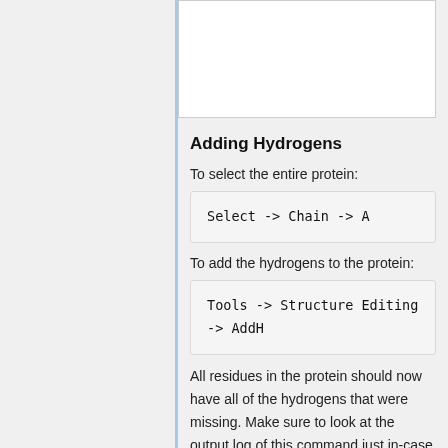Adding Hydrogens
To select the entire protein:
Select -> Chain -> A
To add the hydrogens to the protein:
Tools -> Structure Editing -> AddH
All residues in the protein should now have all of the hydrogens that were missing. Make sure to look at the output log of this command just in-case any errors arise, although there should be none if the instructions were followed the f...